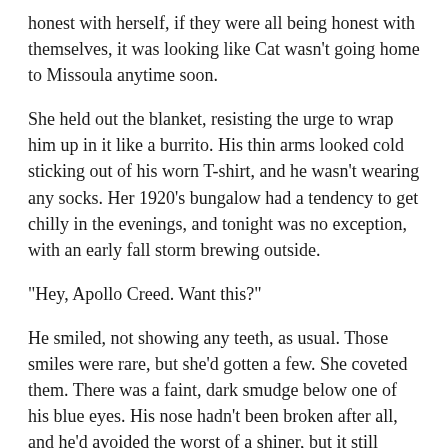honest with herself, if they were all being honest with themselves, it was looking like Cat wasn't going home to Missoula anytime soon.
She held out the blanket, resisting the urge to wrap him up in it like a burrito. His thin arms looked cold sticking out of his worn T-shirt, and he wasn't wearing any socks. Her 1920's bungalow had a tendency to get chilly in the evenings, and tonight was no exception, with an early fall storm brewing outside.
“Hey, Apollo Creed. Want this?”
He smiled, not showing any teeth, as usual. Those smiles were rare, but she’d gotten a few. She coveted them. There was a faint, dark smudge below one of his blue eyes. His nose hadn’t been broken after all, and he’d avoided the worst of a shiner, but it still looked sore.
He was a tough little guy though, and gazing down at him now, her heart swelled. She didn’t want it to swell. In fact, she hadn’t meant to get attached at all. Justine had a busy job. Maybe not so busy a social life, but still. She’d been offered a